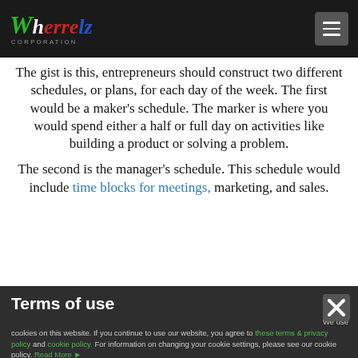Wherrelz Corporation
The gist is this, entrepreneurs should construct two different schedules, or plans, for each day of the week. The first would be a maker's schedule. The marker is where you would spend either a half or full day on activities like building a product or solving a problem.
The second is the manager's schedule. This schedule would include time blocks for meetings, marketing, and sales.
Terms of use
We use cookies on this website. If you continue to use our website, you agree to these terms & privacy policy and cookie policy. For information on changing your cookie settings, please see our cookie policy. Read More ▶